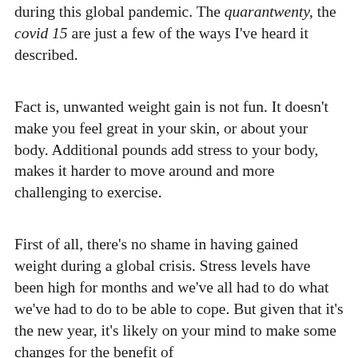during this global pandemic. The quarantwenty, the covid 15 are just a few of the ways I've heard it described.
Fact is, unwanted weight gain is not fun. It doesn't make you feel great in your skin, or about your body. Additional pounds add stress to your body, makes it harder to move around and more challenging to exercise.
First of all, there's no shame in having gained weight during a global crisis. Stress levels have been high for months and we've all had to do what we've had to do to be able to cope. But given that it's the new year, it's likely on your mind to make some changes for the benefit of